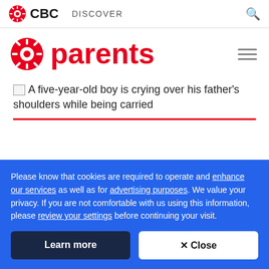CBC DISCOVER
parents
A five-year-old boy is crying over his father's shoulders while being carried
Please know that cookies are required to operate and enhance our services as well as for advertising purposes. We value your privacy. If you are not comfortable with us using this information, please review your settings before continuing your visit.